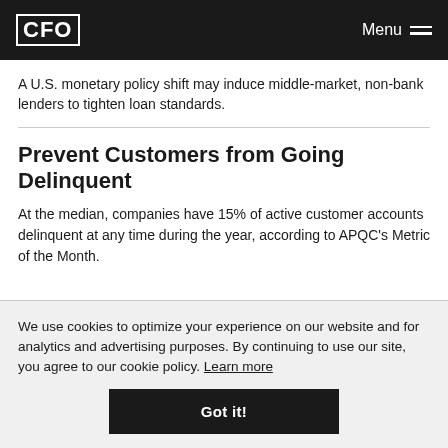CFO | Menu
A U.S. monetary policy shift may induce middle-market, non-bank lenders to tighten loan standards.
Prevent Customers from Going Delinquent
At the median, companies have 15% of active customer accounts delinquent at any time during the year, according to APQC's Metric of the Month.
We use cookies to optimize your experience on our website and for analytics and advertising purposes. By continuing to use our site, you agree to our cookie policy. Learn more